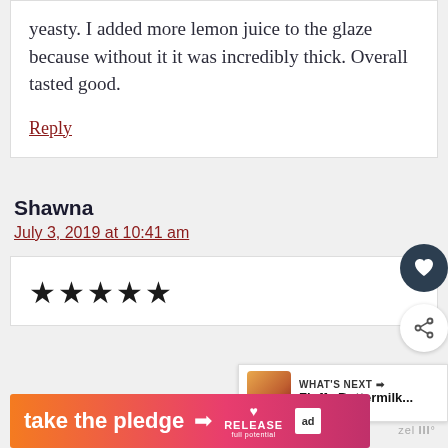yeasty. I added more lemon juice to the glaze because without it it was incredibly thick. Overall tasted good.
Reply
Shawna
July 3, 2019 at 10:41 am
[Figure (other): Five filled star rating icons]
[Figure (infographic): Advertisement banner: 'take the pledge' with arrow, RELEASE logo, and ad marker]